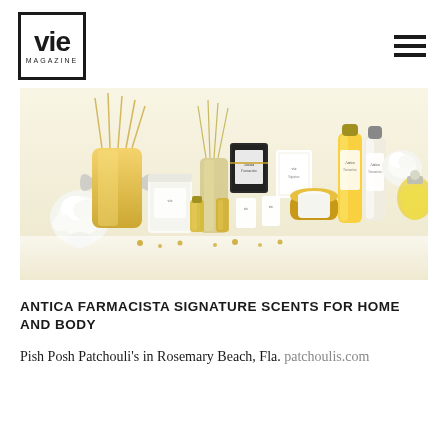VIE MAGAZINE
[Figure (photo): Array of Antica Farmacista luxury home and body products including reed diffusers, candles, lotions, and decorative bottles in gold and white tones arranged on a white surface with white roses]
ANTICA FARMACISTA SIGNATURE SCENTS FOR HOME AND BODY
Pish Posh Patchouli's in Rosemary Beach, Fla. patchoulis.com